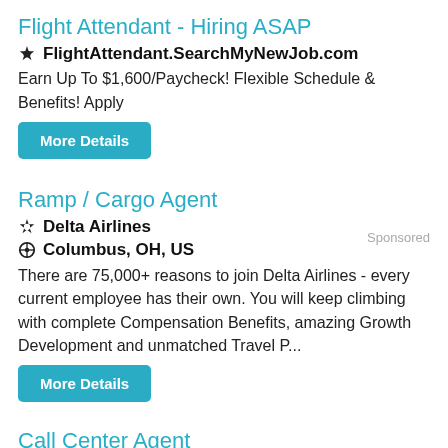Flight Attendant - Hiring ASAP
✳ FlightAttendant.SearchMyNewJob.com
Earn Up To $1,600/Paycheck! Flexible Schedule & Benefits! Apply
Sponsored
Ramp / Cargo Agent
✳ Delta Airlines
⊙ Columbus, OH, US
There are 75,000+ reasons to join Delta Airlines - every current employee has their own. You will keep climbing with complete Compensation Benefits, amazing Growth Development and unmatched Travel P...
Call Center Agent
✳ Delta Airlines